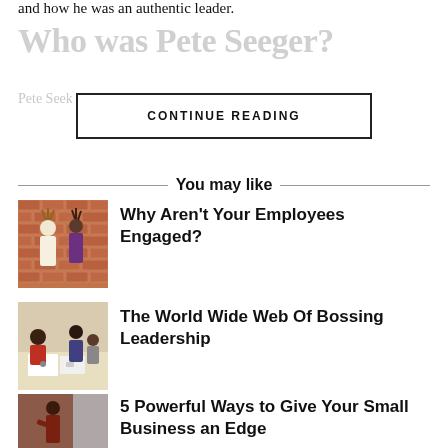and how he was an authentic leader.
Who was Pete Seeger?
Pete Seeger ... k ... ...
CONTINUE READING
You may like
[Figure (photo): Two people standing against a brick wall, one with spiky hair]
Why Aren't Your Employees Engaged?
[Figure (photo): People sitting around a table working together]
The World Wide Web Of Bossing Leadership
[Figure (photo): Person standing near a window]
5 Powerful Ways to Give Your Small Business an Edge